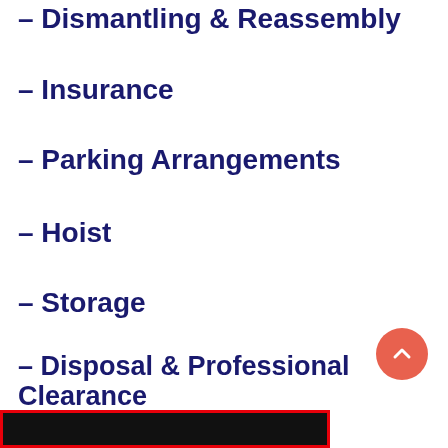– Dismantling & Reassembly
– Insurance
– Parking Arrangements
– Hoist
– Storage
– Disposal & Professional Clearance